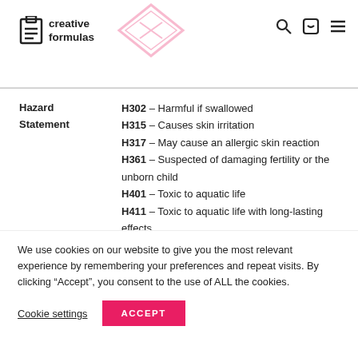creative formulas
|  |  |
| --- | --- |
| Hazard Statement | H302 - Harmful if swallowed
H315 - Causes skin irritation
H317 - May cause an allergic skin reaction
H361 - Suspected of damaging fertility or the unborn child
H401 - Toxic to aquatic life
H411 - Toxic to aquatic life with long-lasting effects |
We use cookies on our website to give you the most relevant experience by remembering your preferences and repeat visits. By clicking “Accept”, you consent to the use of ALL the cookies.
Cookie settings
ACCEPT